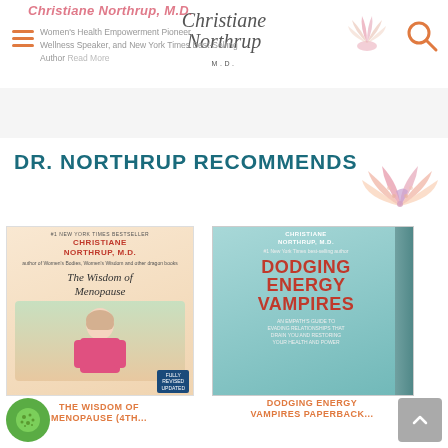Christiane Northrup, M.D.
Women's Health Empowerment Pioneer, Wellness Speaker, and New York Times Best-Selling Author Read More
DR. NORTHRUP RECOMMENDS
[Figure (photo): Book cover: The Wisdom of Menopause (4th edition) by Christiane Northrup M.D. — woman in pink cardigan in garden]
THE WISDOM OF MENOPAUSE (4TH...
[Figure (photo): Book cover: Dodging Energy Vampires by Christiane Northrup M.D. — teal/green cover]
DODGING ENERGY VAMPIRES PAPERBACK...